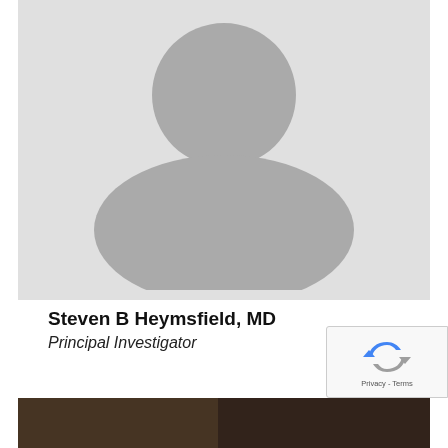[Figure (photo): Default avatar placeholder image with light gray background showing a gray silhouette of a person (circle for head, rounded body shape below)]
Steven B Heymsfield, MD
Principal Investigator
[Figure (photo): Partial bottom photo showing a dark brown wooden surface, partially obscured by a reCAPTCHA badge in the lower right]
[Figure (other): Google reCAPTCHA badge in bottom right corner with reCAPTCHA logo (blue/gray arrows) and 'Privacy - Terms' text]